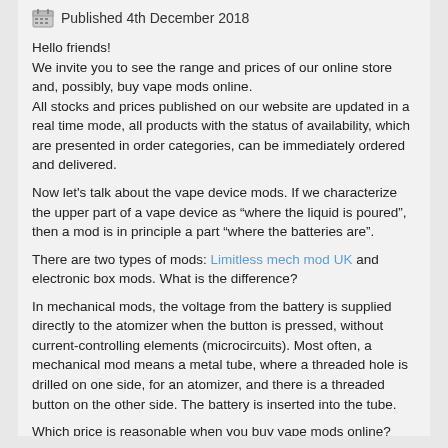Published 4th December 2018
Hello friends!
We invite you to see the range and prices of our online store and, possibly, buy vape mods online.
All stocks and prices published on our website are updated in a real time mode, all products with the status of availability, which are presented in order categories, can be immediately ordered and delivered.
Now let's talk about the vape device mods. If we characterize the upper part of a vape device as “where the liquid is poured”, then a mod is in principle a part “where the batteries are”.
There are two types of mods: Limitless mech mod UK and electronic box mods. What is the difference?
In mechanical mods, the voltage from the battery is supplied directly to the atomizer when the button is pressed, without current-controlling elements (microcircuits). Most often, a mechanical mod means a metal tube, where a threaded hole is drilled on one side, for an atomizer, and there is a threaded button on the other side. The battery is inserted into the tube.
Which price is reasonable when you buy vape mods online?
If a mod is made from high-quality alloy, the mod is gold-plated, and the contacts are made of silver, the price will be relatively high, but the manufacturer gives a long lifetime warranty. You will then rather spare money. If you buy a cheaper mod that will soon be broken and have to buy a new one, you will waste much more.